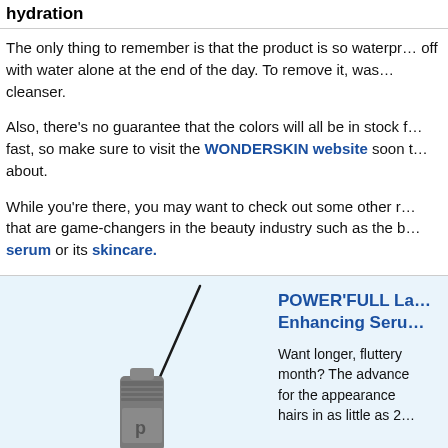hydration
The only thing to remember is that the product is so waterproof that you can't wash it off with water alone at the end of the day. To remove it, wash your face with a cleanser.
Also, there's no guarantee that the colors will all be in stock for long as they sell fast, so make sure to visit the WONDERSKIN website soon to find the shade you care about.
While you're there, you may want to check out some other remarkable products that are game-changers in the beauty industry such as the b serum or its skincare.
[Figure (photo): A cosmetic serum/liner product bottle with a brush applicator, shown with a fine brush tip extended, on a light blue background.]
POWER'FULL LA Enhancing Seru
Want longer, fluttery month? The advance for the appearance hairs in as little as 2